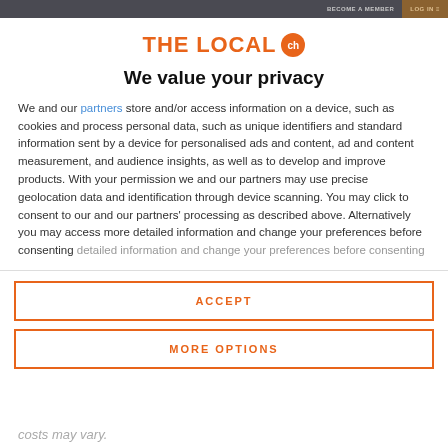BECOME A MEMBER   LOG IN
[Figure (logo): THE LOCAL ch logo — orange text with orange circle containing 'ch']
We value your privacy
We and our partners store and/or access information on a device, such as cookies and process personal data, such as unique identifiers and standard information sent by a device for personalised ads and content, ad and content measurement, and audience insights, as well as to develop and improve products. With your permission we and our partners may use precise geolocation data and identification through device scanning. You may click to consent to our and our partners' processing as described above. Alternatively you may access more detailed information and change your preferences before consenting
ACCEPT
MORE OPTIONS
costs may vary.